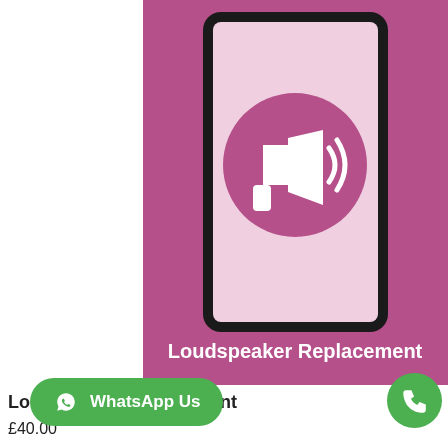[Figure (illustration): Product image showing a smartphone with a pink/mauve background and a megaphone/loudspeaker icon on the screen. Text at the bottom reads 'Loudspeaker Replacement'.]
Loudspeaker Replacement
£40.00